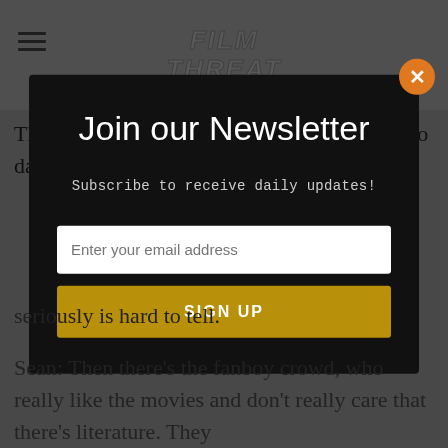FILM THREAT
The high school and college age Goths are into dark
[Figure (screenshot): Newsletter signup modal popup with black background, title 'Join our Newsletter', subtitle 'Subscribe to receive daily updates!', an email input field, and a gold 'SIGN UP' button. Orange X close button in top-right corner.]
seriously is hard to tell.
Sean: Then there's the fanboy crowd, who really like the movies and don't really care that there's literature. They